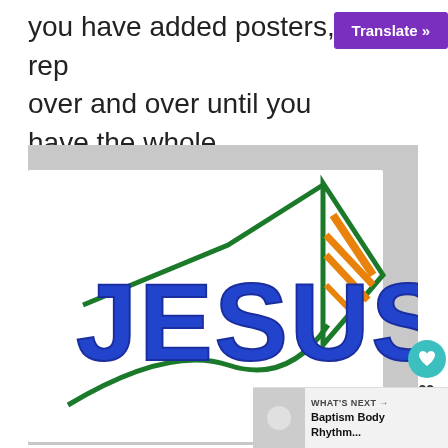you have added posters, rep... over and over until you have the whole song up on the board.
[Figure (photo): A hand-drawn poster on white paper showing the word JESUS in large blue block letters inside a green arrow/star shape with orange accents, placed on a marble surface.]
WHAT'S NEXT → Baptism Body Rhythm...